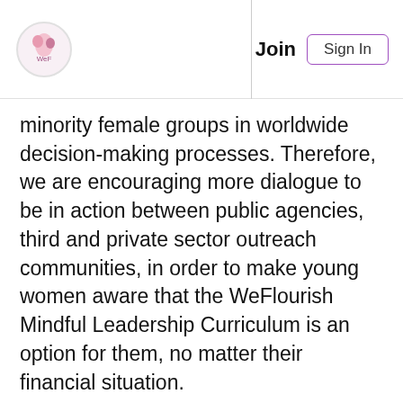Join  Sign In
minority female groups in worldwide decision-making processes. Therefore, we are encouraging more dialogue to be in action between public agencies, third and private sector outreach communities, in order to make young women aware that the WeFlourish Mindful Leadership Curriculum is an option for them, no matter their financial situation.
In between modules there is the chance to connect and reflect through the WeFlourish Hub. This is the online community which offers support and the element of community as young females journey